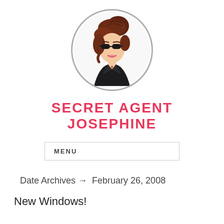[Figure (illustration): Circular avatar illustration of a stylized woman with brown hair in a bun, wearing black sunglasses and a black jacket, inside a gray circle border]
SECRET AGENT JOSEPHINE
MENU
Date Archives → February 26, 2008
New Windows!